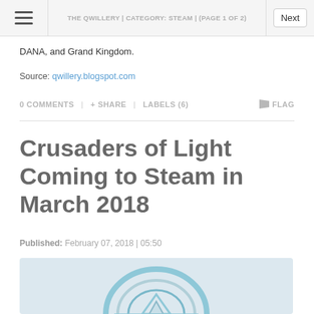THE QWILLERY | CATEGORY: STEAM | (PAGE 1 OF 2)
DANA, and Grand Kingdom.
Source: qwillery.blogspot.com
0 COMMENTS  + SHARE  LABELS (6)  FLAG
Crusaders of Light Coming to Steam in March 2018
Published: February 07, 2018 | 05:50
[Figure (illustration): Partial view of a decorative circular logo/emblem with teal and grey colors, cropped at bottom of page]